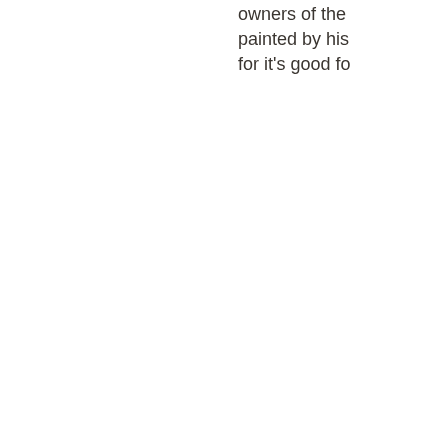owners of the painted by his for it's good fo